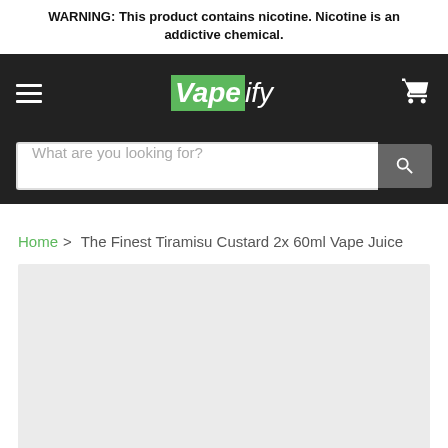WARNING: This product contains nicotine. Nicotine is an addictive chemical.
[Figure (logo): Vapeify logo in white text on dark background with green highlight on 'Vape']
What are you looking for?
Home > The Finest Tiramisu Custard 2x 60ml Vape Juice
[Figure (photo): Product image placeholder - light grey rectangle]